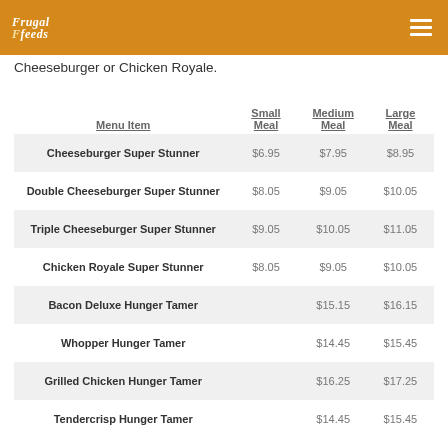Frugal Feeds
Cheeseburger or Chicken Royale.
| Menu Item | Small Meal | Medium Meal | Large Meal |
| --- | --- | --- | --- |
| Cheeseburger Super Stunner | $6.95 | $7.95 | $8.95 |
| Double Cheeseburger Super Stunner | $8.05 | $9.05 | $10.05 |
| Triple Cheeseburger Super Stunner | $9.05 | $10.05 | $11.05 |
| Chicken Royale Super Stunner | $8.05 | $9.05 | $10.05 |
| Bacon Deluxe Hunger Tamer |  | $15.15 | $16.15 |
| Whopper Hunger Tamer |  | $14.45 | $15.45 |
| Grilled Chicken Hunger Tamer |  | $16.25 | $17.25 |
| Tendercrisp Hunger Tamer |  | $14.45 | $15.45 |